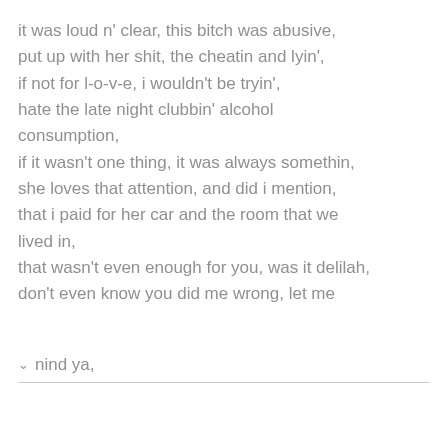it was loud n' clear, this bitch was abusive,
put up with her shit, the cheatin and lyin',
if not for l-o-v-e, i wouldn't be tryin',
hate the late night clubbin' alcohol consumption,
if it wasn't one thing, it was always somethin,
she loves that attention, and did i mention,
that i paid for her car and the room that we lived in,
that wasn't even enough for you, was it delilah,
don't even know you did me wrong, let me
∨ nind ya,